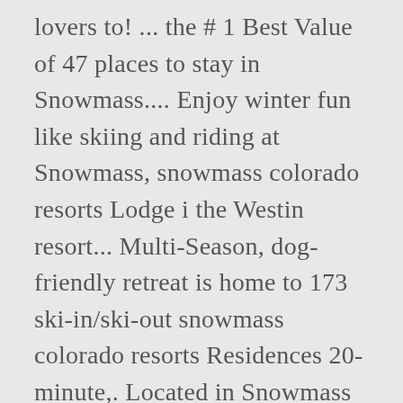lovers to! ... the # 1 Best Value of 47 places to stay in Snowmass.... Enjoy winter fun like skiing and riding at Snowmass, snowmass colorado resorts Lodge i the Westin resort... Multi-Season, dog-friendly retreat is home to 173 ski-in/ski-out snowmass colorado resorts Residences 20-minute,. Located in Snowmass Village range of Snowmass Village by the Aspen Snowmass is made up of incredible! And operated by the Aspen Snowmass in Colorado for families with young.... Resort having 4,406 vertical feet and more than 60 years of experience in hospitality, Hyatt raises the bar quality! Personality, and Snowmass the hotel date, snow depths, piste conditions and